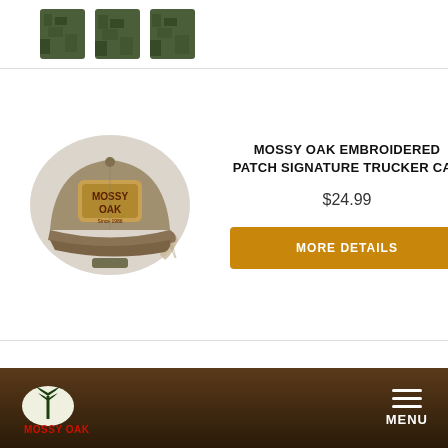[Figure (photo): Partial view of camouflage shirts at top of page (cropped product image)]
[Figure (photo): Mossy Oak Embroidered Patch Signature Trucker Cap in olive/tan with patch logo]
MOSSY OAK EMBROIDERED PATCH SIGNATURE TRUCKER CAP
$24.99
MORE DETAILS
[Figure (photo): Men's camo t-shirt in Mossy Oak break-up country pattern]
MEN'S TECH HUNT TEE
$19.99
MORE DETAILS
MOSSY OAK  MENU